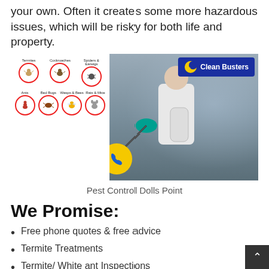your own. Often it creates some more hazardous issues, which will be risky for both life and property.
[Figure (photo): Pest control composite image: left panel shows pest icons (Termites, Cockroaches, Spiders & Earwigs, Ants, Bed Bugs, Wasps & Bees, Rats & Mice) with red-circled illustrations; right panel shows a person in white protective suit spraying with a pump sprayer; Clean Busters logo in top right corner with moon icon; yellow phone button on left side.]
Pest Control Dolls Point
We Promise:
Free phone quotes & free advice
Termite Treatments
Termite/ White ant Inspections
Residential & Commercial pest control
Quality Work reasonably priced